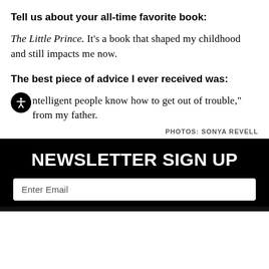Tell us about your all-time favorite book:
The Little Prince. It's a book that shaped my childhood and still impacts me now.
The best piece of advice I ever received was:
Intelligent people know how to get out of trouble," from my father.
PHOTOS: SONYA REVELL
NEWSLETTER SIGN UP
Enter Email